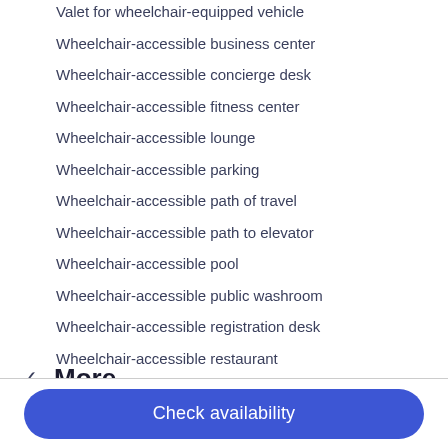Valet for wheelchair-equipped vehicle
Wheelchair-accessible business center
Wheelchair-accessible concierge desk
Wheelchair-accessible fitness center
Wheelchair-accessible lounge
Wheelchair-accessible parking
Wheelchair-accessible path of travel
Wheelchair-accessible path to elevator
Wheelchair-accessible pool
Wheelchair-accessible public washroom
Wheelchair-accessible registration desk
Wheelchair-accessible restaurant
Wheelchair-accessible spa
Wheelchair-accessible van parking
✓  More
Check availability